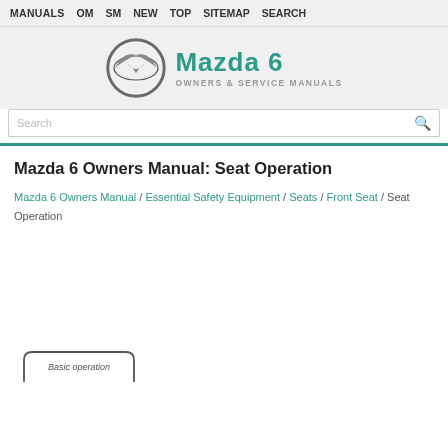MANUALS  OM  SM  NEW  TOP  SITEMAP  SEARCH
[Figure (logo): Mazda 6 Owners & Service Manuals logo with Mazda wing emblem]
Mazda 6 Owners Manual: Seat Operation
Mazda 6 Owners Manual / Essential Safety Equipment / Seats / Front Seat / Seat Operation
[Figure (illustration): Partial view of a manual page showing 'Basic operation' heading in a rounded box]